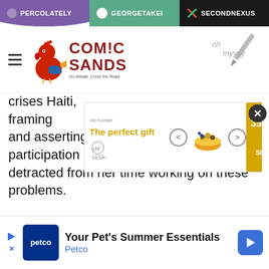PERCOLATELY | GEORGETAKEI | SECONDNEXUS
[Figure (logo): Comic Sands logo with rooster illustration and tagline 'Go Ahead. Cross the Road.']
[Figure (screenshot): Advertisement overlay: 'The perfect gift' with food product image, navigation arrows, and '35% OFF + FREE SHIPPING' offer badge]
crises Haiti, framing ates and asserting the Vice President's participation in the coin-flipping ceremony detracted from her time working on these problems.
[Figure (screenshot): Petco advertisement: 'Your Pet's Summer Essentials' with Petco logo and navigation arrow]